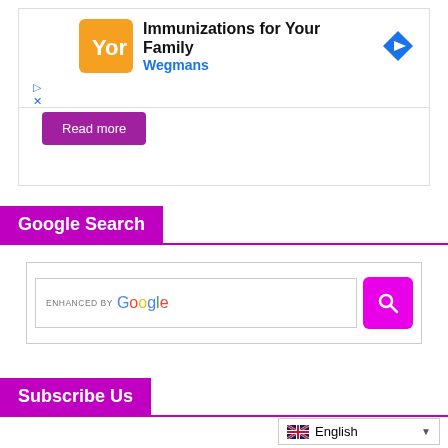[Figure (screenshot): Advertisement banner: Immunizations for Your Family - Wegmans, with logo and navigation arrow icon]
Read more
Google Search
[Figure (screenshot): Google search box with ENHANCED BY Google label and magenta search button with magnifying glass icon]
Subscribe Us
English